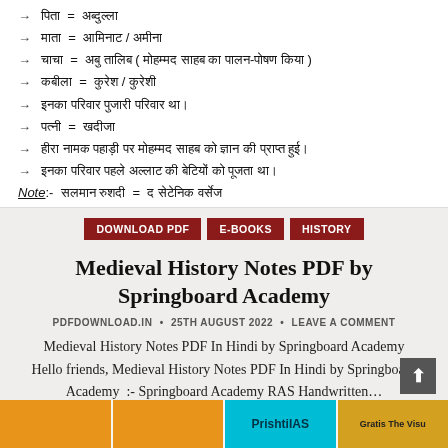पिता = अब्दुल्ला
माता = आमिनाट / अमीना
चाचा = अबु तालिब ( मोहम्मद साहब का पालन-पोषण किया )
कबीला = कुरेश / कुरेशी
इनका परिवार पुजारी परिवार था।
पत्नी = खदीजा
हीरा नामक पहाड़ी पर मोहम्मद साहब को ज्ञान की प्राप्त हुई।
इनका परिवार पहले अल्लाट की बेटियों को पूजता था।
Note:- सलमान रुशदी = द सेटेनिक वर्सेज
DOWNLOAD PDF   E-BOOKS   HISTORY
Medieval History Notes PDF by Springboard Academy
PDFDOWNLOAD.IN • 25TH AUGUST 2022 • LEAVE A COMMENT
Medieval History Notes PDF In Hindi by Springboard Academy Hello friends, Medieval History Notes PDF In Hindi by Springboard Academy :- Springboard Academy RAS Handwritten...
CONTINUE READING...